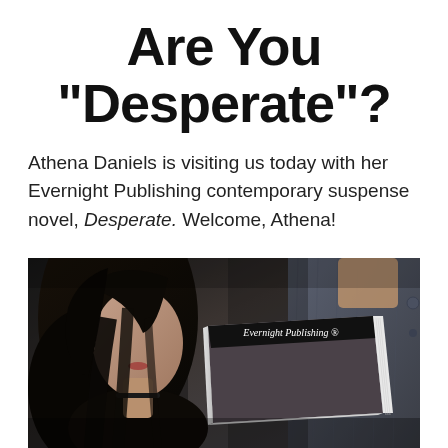Are You "Desperate"?
Athena Daniels is visiting us today with her Evernight Publishing contemporary suspense novel, Desperate. Welcome, Athena!
[Figure (photo): Book cover for 'Desperate' published by Evernight Publishing, showing a dark-toned romantic suspense scene with a woman with dark hair and a man in a denim shirt, with a physical book spine showing 'Evernight Publishing' logo in the foreground.]